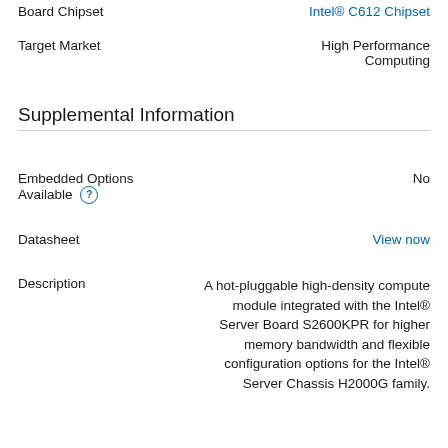Board Chipset | Intel® C612 Chipset
Target Market | High Performance Computing
Supplemental Information
Embedded Options Available | No
Datasheet | View now
Description | A hot-pluggable high-density compute module integrated with the Intel® Server Board S2600KPR for higher memory bandwidth and flexible configuration options for the Intel® Server Chassis H2000G family.